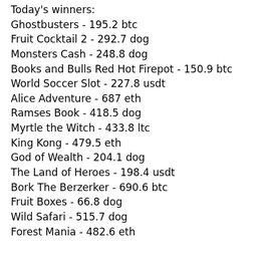Today's winners:
Ghostbusters - 195.2 btc
Fruit Cocktail 2 - 292.7 dog
Monsters Cash - 248.8 dog
Books and Bulls Red Hot Firepot - 150.9 btc
World Soccer Slot - 227.8 usdt
Alice Adventure - 687 eth
Ramses Book - 418.5 dog
Myrtle the Witch - 433.8 ltc
King Kong - 479.5 eth
God of Wealth - 204.1 dog
The Land of Heroes - 198.4 usdt
Bork The Berzerker - 690.6 btc
Fruit Boxes - 66.8 dog
Wild Safari - 515.7 dog
Forest Mania - 482.6 eth
Videoslots, card and board games:
BetChain Casino La Taberna
Bitcoin Penguin Casino Beetle Star
Vegas Crest Casino Sushi Bar